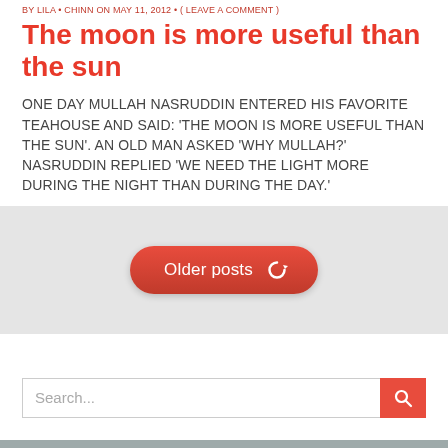BY LILA • CHINN ON MAY 11, 2012 • ( LEAVE A COMMENT )
The moon is more useful than the sun
ONE DAY MULLAH NASRUDDIN ENTERED HIS FAVORITE TEAHOUSE AND SAID: 'THE MOON IS MORE USEFUL THAN THE SUN'. AN OLD MAN ASKED 'WHY MULLAH?' NASRUDDIN REPLIED 'WE NEED THE LIGHT MORE DURING THE NIGHT THAN DURING THE DAY.'
[Figure (other): Older posts button - a red rounded button with text 'Older posts' and a refresh/cycle icon, on a light gray background section]
[Figure (other): Search bar with placeholder text 'Search...' and a red search button with magnifying glass icon]
ARCHIVES